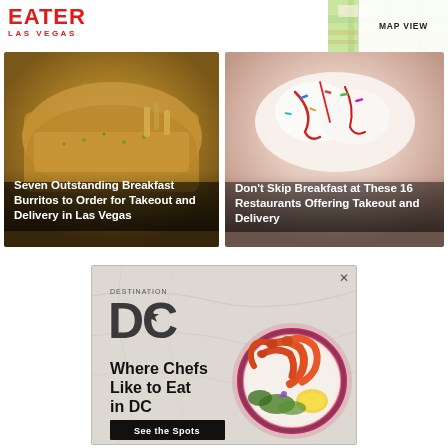EATER LAS VEGAS
[Figure (screenshot): Map view thumbnail in top right corner]
MAP VIEW
[Figure (photo): Photo of breakfast burrito with fries and toppings]
Seven Outstanding Breakfast Burritos to Order for Takeout and Delivery in Las Vegas
[Figure (photo): Photo of breakfast dessert/pastry with colorful sprinkles and cream]
Don't Skip Breakfast at These 16 Restaurants Offering Takeout and Delivery
[Figure (infographic): Destination DC advertisement featuring shrimp dish on decorative plate with text 'Where Chefs Like to Eat in DC' and 'See the Spots' button]